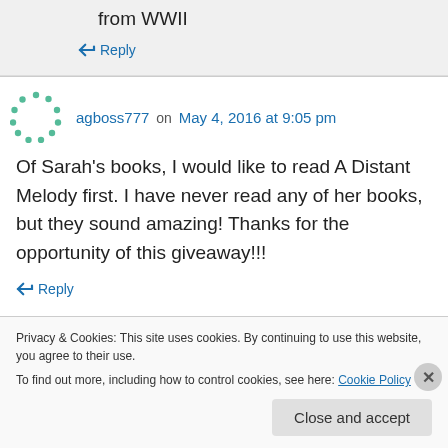from WWII
↪ Reply
agboss777 on May 4, 2016 at 9:05 pm
Of Sarah's books, I would like to read A Distant Melody first. I have never read any of her books, but they sound amazing! Thanks for the opportunity of this giveaway!!!
↪ Reply
Privacy & Cookies: This site uses cookies. By continuing to use this website, you agree to their use.
To find out more, including how to control cookies, see here: Cookie Policy
Close and accept